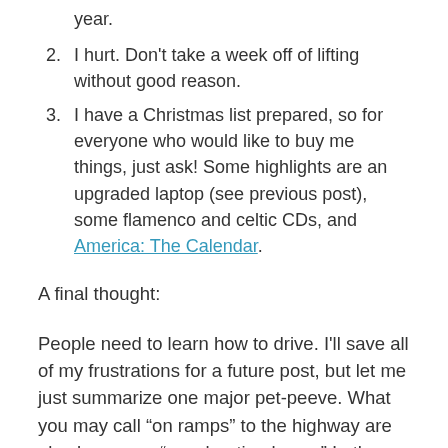year.
I hurt. Don't take a week off of lifting without good reason.
I have a Christmas list prepared, so for everyone who would like to buy me things, just ask! Some highlights are an upgraded laptop (see previous post), some flamenco and celtic CDs, and America: The Calendar.
A final thought:
People need to learn how to drive. I'll save all of my frustrations for a future post, but let me just summarize one major pet-peeve. What you may call “on ramps” to the highway are also known as “acceleration lanes.” In these lanes, you should accelerate. It is dangerous and stupid to try merging into 80 mph traffic at 55 mph, even in South Dakota. Period. End of discussion. Oh, and for God’s sake look behind you while you’re backing up, especially in parking lots. Don’t ever get close to running over my mother on